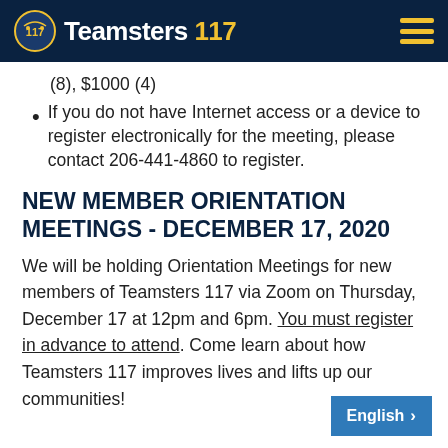Teamsters 117
(8), $1000 (4)
If you do not have Internet access or a device to register electronically for the meeting, please contact 206-441-4860 to register.
NEW MEMBER ORIENTATION MEETINGS - DECEMBER 17, 2020
We will be holding Orientation Meetings for new members of Teamsters 117 via Zoom on Thursday, December 17 at 12pm and 6pm. You must register in advance to attend. Come learn about how Teamsters 117 improves lives and lifts up our communities!
English